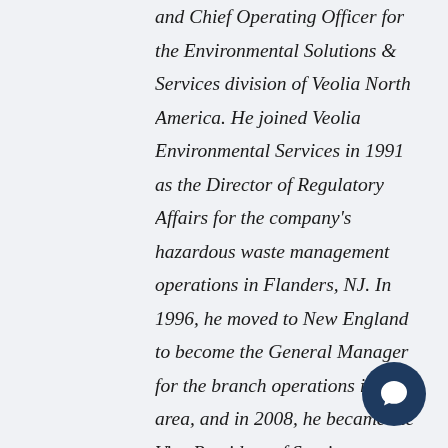and Chief Operating Officer for the Environmental Solutions & Services division of Veolia North America. He joined Veolia Environmental Services in 1991 as the Director of Regulatory Affairs for the company's hazardous waste management operations in Flanders, NJ. In 1996, he moved to New England to become the General Manager for the branch operations in that area, and in 2008, he became the Vice President of Service Operations for the Eastern region of the company. In 2012, Bob assumed responsibility for Veolia's operations in the Western Region. In 2014, he became the Senior Vice President for the Environmental Solutions & Services business